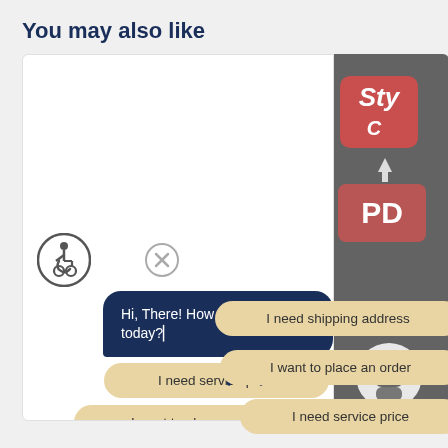You may also like
[Figure (screenshot): Screenshot of a chatbot UI widget showing an accessibility icon, a close button, a dark navy chat bubble saying 'Hi, There! How can I assist you today?' with a cursor, and three tan/beige reply option bubbles: 'I need service price', 'I want to place an order', 'I need shipping address'. To the right is a partially visible product card with a pink/red style logo box, a down arrow, a PDF button, and a robot avatar.]